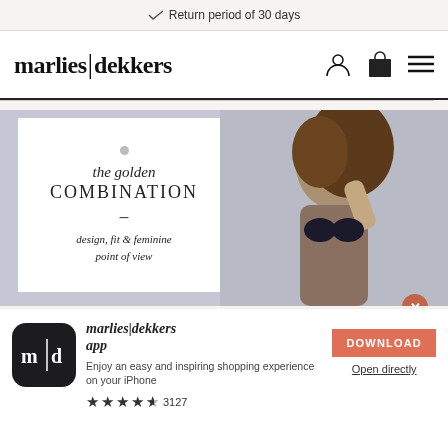Return period of 30 days
[Figure (screenshot): marlies|dekkers website header with logo, user icon, bag icon, and menu icon]
[Figure (photo): Hero banner with white card showing 'the golden COMBINATION - design, fit & feminine point of view' and a model in black bikini on blue-grey background]
[Figure (screenshot): marlies|dekkers app download popup with app icon, description, DOWNLOAD button, Open directly link, and 3127 ratings with 4.5 stars]
'I always kr ... yet. Should it be a 'fi ... ied', like fashion or ... Is beautiful curves in ... ody as my